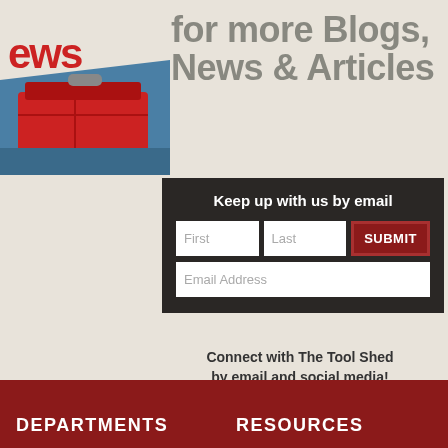[Figure (illustration): Illustrated blue toolbox with red tool chest, vintage/retro style artwork on beige background. Partial text 'ews' visible at top left.]
for more Blogs, News & Articles
Keep up with us by email
Connect with The Tool Shed by email and social media!
[Figure (infographic): Social media icons: Facebook (f), LinkedIn (in), YouTube (play button triangle) in dark red squares with diagonal shadow effect]
Connect with The Tool Shed!
DEPARTMENTS
RESOURCES